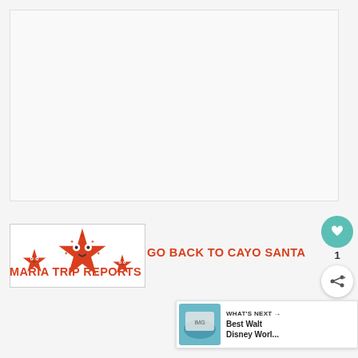[Figure (photo): Large blank/white image area at top of page, appears to be a placeholder or advertisement space]
[Figure (illustration): Three red cartoon starfish with smiling faces, in a thumbnail image with white border]
GO BACK TO CAYO SANTA
MARIA TRIP REPORTS
[Figure (infographic): Teal heart/like button with count of 1 below it, and a share button below that]
[Figure (screenshot): What's Next panel showing thumbnail and text 'Best Walt Disney Worl...']